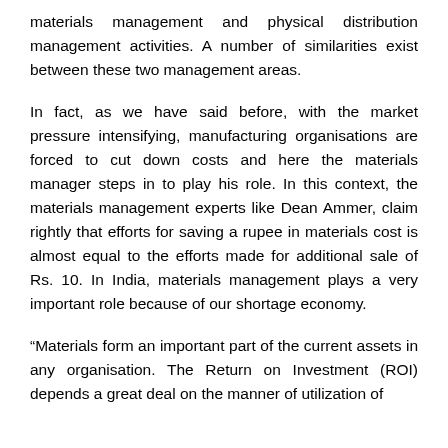materials management and physical distribution management activities. A number of similarities exist between these two management areas.
In fact, as we have said before, with the market pressure intensifying, manufacturing organisations are forced to cut down costs and here the materials manager steps in to play his role. In this context, the materials management experts like Dean Ammer, claim rightly that efforts for saving a rupee in materials cost is almost equal to the efforts made for additional sale of Rs. 10. In India, materials management plays a very important role because of our shortage economy.
“Materials form an important part of the current assets in any organisation. The Return on Investment (ROI) depends a great deal on the manner of utilization of